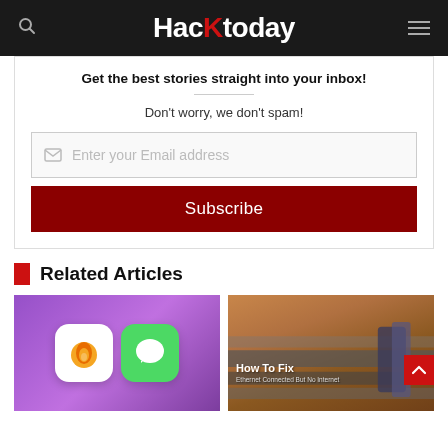HacKtoday
Get the best stories straight into your inbox!
Don't worry, we don't spam!
Enter your Email address
Subscribe
Related Articles
[Figure (screenshot): App icons on purple gradient background - showing a fire/hurricane orange app icon and a green messages app icon]
[Figure (photo): Ethernet cables photo with overlay text 'How To Fix Ethernet Connected But No Internet']